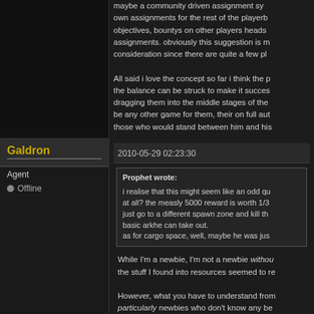maybe a community driven assignment system where players can create their own assignments for the rest of the playerbase. things like, kill those objectives, bountys on other players heads... not just generic kill assignments. obviously this suggestion is more long term and needs consideration since there are quite a few pla
All said i love the concept so far i think the p... the balance can be struck to make it success... dragging them into the middle stages of the... be any other game for them, their on full aut... those who would stand between him and his
Galdron
Agent
Offline
2010-05-29 02:23:30
Prophet wrote:
i realise that this might seem like an odd qu... at all? the measly 5000 reward is worth 1/3... just go to a different spawn zone and kill th... basic arkhe can take out.
as for cargo space, well, maybe he was jus
While I'm a newbie, I'm not a newbie without... the stuff I found into resources seemed to re
However, what you have to understand from... particularly newbies who don't know any be... situation that makes them feel complete hel... drive them away: it's  game design suicide.
Besides, the behavior of this guy made it ra